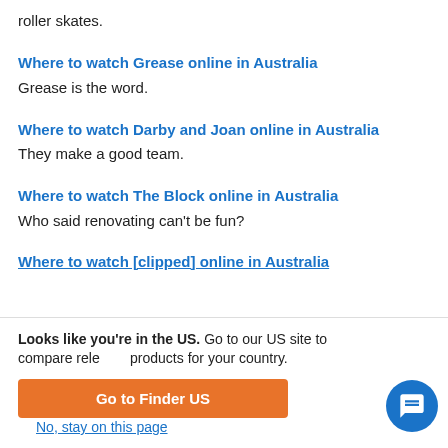roller skates.
Where to watch Grease online in Australia
Grease is the word.
Where to watch Darby and Joan online in Australia
They make a good team.
Where to watch The Block online in Australia
Who said renovating can't be fun?
Where to watch [partial, clipped]
Looks like you're in the US. Go to our US site to compare relevant products for your country.
Go to Finder US
No, stay on this page